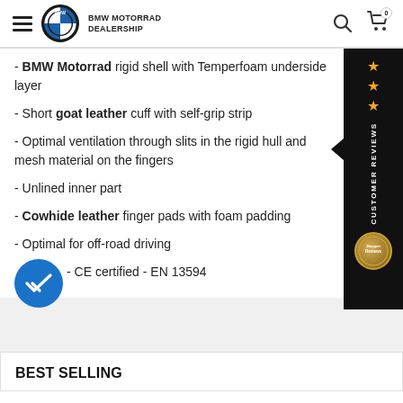BMW MOTORRAD DEALERSHIP
- BMW Motorrad rigid shell with Temperfoam underside layer
- Short goat leather cuff with self-grip strip
- Optimal ventilation through slits in the rigid hull and mesh material on the fingers
- Unlined inner part
- Cowhide leather finger pads with foam padding
- Optimal for off-road driving
- CE certified - EN 13594
[Figure (infographic): Customer Reviews sidebar with 3 gold stars and a badge, plus a blue circular checkmark button]
BEST SELLING